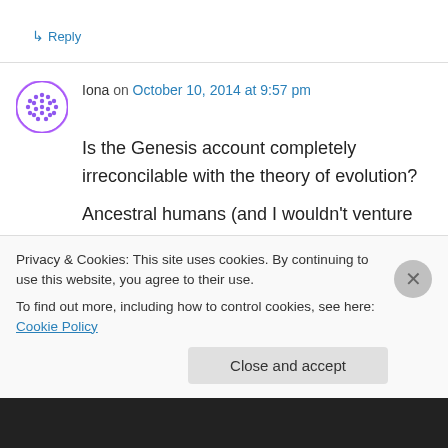↳ Reply
Iona on October 10, 2014 at 9:57 pm
Is the Genesis account completely irreconcilable with the theory of evolution?
Ancestral humans (and I wouldn't venture to say at exactly what point in evolution they came, and
Privacy & Cookies: This site uses cookies. By continuing to use this website, you agree to their use.
To find out more, including how to control cookies, see here: Cookie Policy
Close and accept